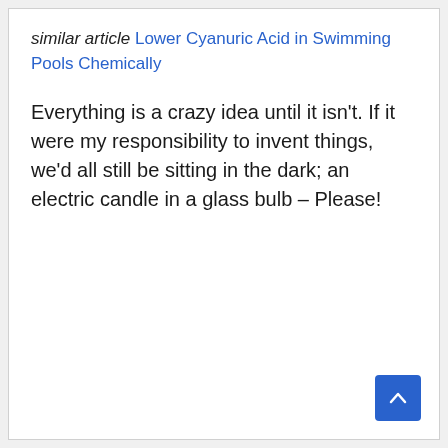similar article Lower Cyanuric Acid in Swimming Pools Chemically
Everything is a crazy idea until it isn't. If it were my responsibility to invent things, we'd all still be sitting in the dark; an electric candle in a glass bulb – Please!